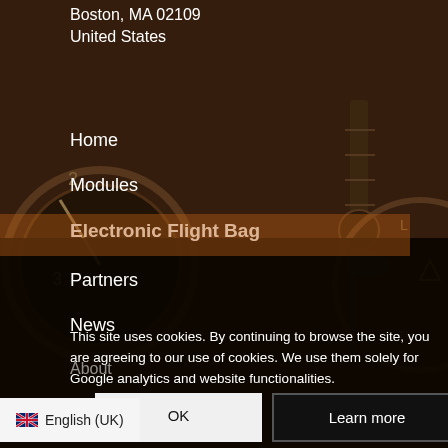Boston, MA 02109
United States
Home
Modules
Electronic Flight Bag
Partners
News
About
Contact
Login
[Figure (photo): Cockpit instrument panel with gauges and controls, sepia/dark brown toned background image]
This site uses cookies. By continuing to browse the site, you are agreeing to our use of cookies. We use them solely for Google analytics and website functionalities.
OK
Learn more
English (UK)